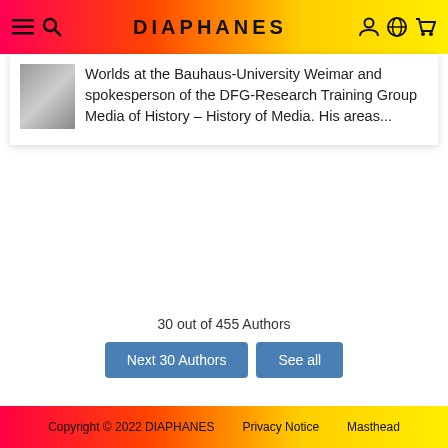DIAPHANES
Worlds at the Bauhaus-University Weimar and spokesperson of the DFG-Research Training Group Media of History – History of Media. His areas...
30 out of 455 Authors
Next 30 Authors
See all
Copyright © 2022 DIAPHANES    Privacy Notice    Masthead